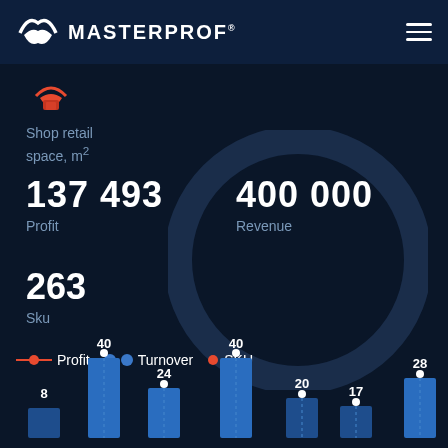MASTERPROF
[Figure (illustration): Orange semi-circle icon (shop/location indicator)]
Shop retail space, m²
137 493
Profit
400 000
Revenue
263
Sku
[Figure (infographic): Large dark navy circle outline in center of page, representing a donut/gauge background]
Profit  Turnover  SKU
[Figure (bar-chart): Partial bar chart at bottom with data points labeled: 8, 40, 24, 40, 20, 17, 28]